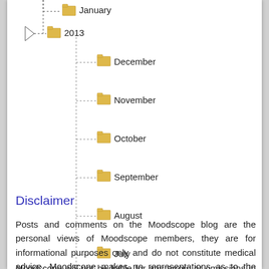[Figure (other): File tree navigation widget showing folder hierarchy: January at top (partially visible), then 2013 folder expanded with months December, November, October, September, August, July, June, May, April]
Disclaimer
Posts and comments on the Moodscope blog are the personal views of Moodscope members, they are for informational purposes only and do not constitute medical advice. Moodscope makes no representations as to the accuracy or completeness of any information on this blog or found by following any of the links.
Moodscope will not be liable for any errors or omissions in this